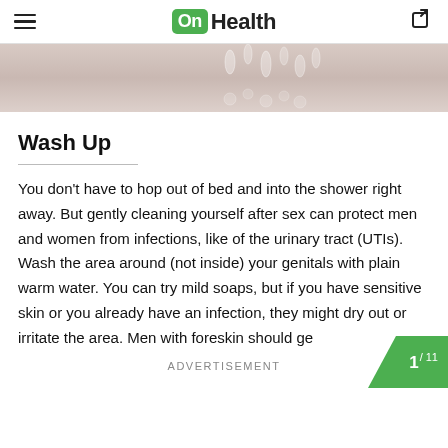OnHealth
[Figure (photo): Water droplets falling against a pinkish/beige background, suggesting a shower or running water scene.]
Wash Up
You don't have to hop out of bed and into the shower right away. But gently cleaning yourself after sex can protect men and women from infections, like of the urinary tract (UTIs). Wash the area around (not inside) your genitals with plain warm water. You can try mild soaps, but if you have sensitive skin or you already have an infection, they might dry out or irritate the area. Men with foreskin should ge
ADVERTISEMENT